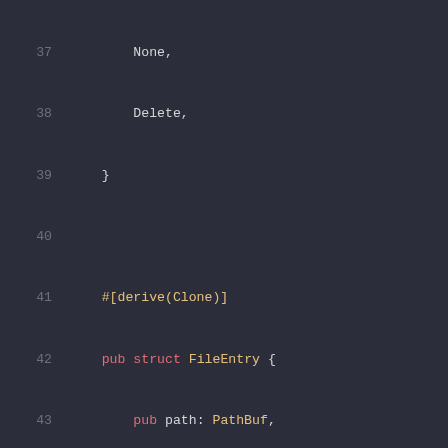[Figure (screenshot): Code editor screenshot showing Rust source code, lines 37-59, with syntax highlighting on a dark background. The code defines a FileEntry struct and TypeOfFile enum.]